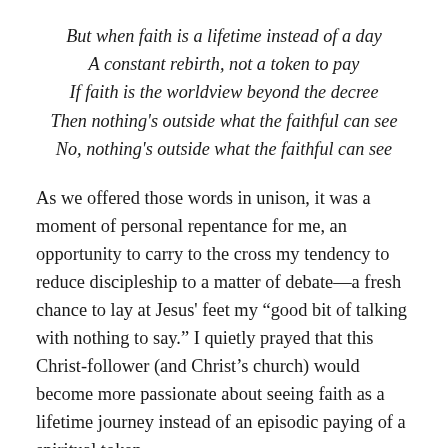But when faith is a lifetime instead of a day
A constant rebirth, not a token to pay
If faith is the worldview beyond the decree
Then nothing's outside what the faithful can see
No, nothing's outside what the faithful can see
As we offered those words in unison, it was a moment of personal repentance for me, an opportunity to carry to the cross my tendency to reduce discipleship to a matter of debate—a fresh chance to lay at Jesus' feet my "good bit of talking with nothing to say." I quietly prayed that this Christ-follower (and Christ's church) would become more passionate about seeing faith as a lifetime journey instead of an episodic paying of a spiritual token.